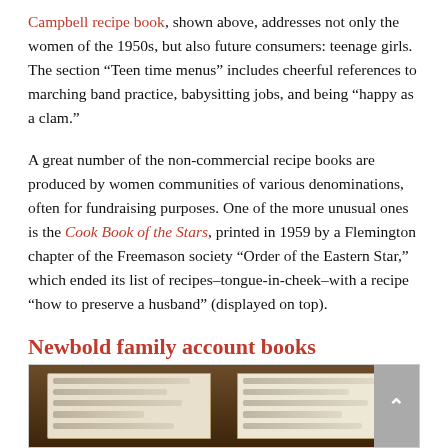Campbell recipe book, shown above, addresses not only the women of the 1950s, but also future consumers: teenage girls. The section “Teen time menus” includes cheerful references to marching band practice, babysitting jobs, and being “happy as a clam.”
A great number of the non-commercial recipe books are produced by women communities of various denominations, often for fundraising purposes. One of the more unusual ones is the Cook Book of the Stars, printed in 1959 by a Flemington chapter of the Freemason society “Order of the Eastern Star,” which ended its list of recipes–tongue-in-cheek–with a recipe “how to preserve a husband” (displayed on top).
Newbold family account books
[Figure (photo): Open antique book showing two pages of handwritten text, resting on a dark brown surface or cover.]